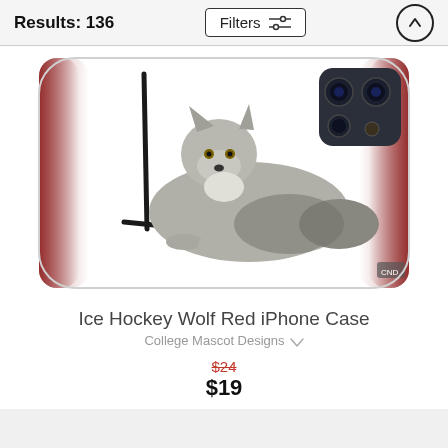Results: 136
Filters
[Figure (photo): An iPhone case featuring an illustration of a grey wolf lying down next to a hockey stick, with red airbrushed edges on a white background. The case also shows a camera cutout in the upper right corner.]
Ice Hockey Wolf Red iPhone Case
College Mascot Designs
$24 (strikethrough) $19